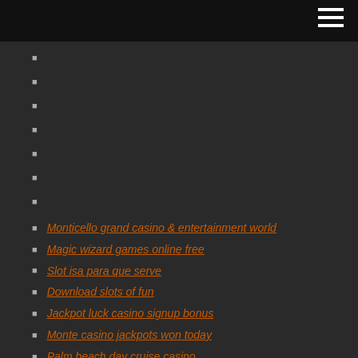Monticello grand casino & entertainment world
Magic wizard games online free
Slot isa para que serve
Download slots of fun
Jackpot luck casino signup bonus
Monte casino jackpots won today
Palm beach day cruise casino